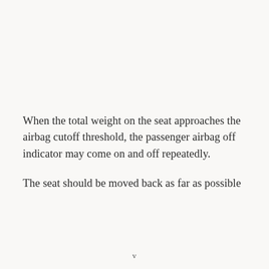When the total weight on the seat approaches the airbag cutoff threshold, the passenger airbag off indicator may come on and off repeatedly.
The seat should be moved back as far as possible
v